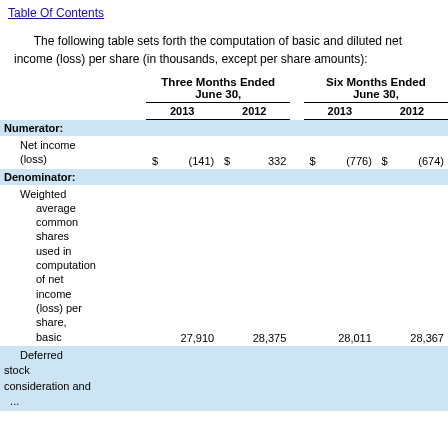Table Of Contents
The following table sets forth the computation of basic and diluted net income (loss) per share (in thousands, except per share amounts):
|  | Three Months Ended June 30, 2013 | Three Months Ended June 30, 2012 | Six Months Ended June 30, 2013 | Six Months Ended June 30, 2012 |
| --- | --- | --- | --- | --- |
| Numerator: |  |  |  |  |
| Net income (loss) | $ (141) | $ 332 | $ (776) | $ (674) |
| Denominator: |  |  |  |  |
| Weighted average common shares used in computation of net income (loss) per share, basic | 27,910 | 28,375 | 28,011 | 28,367 |
| Deferred stock consideration and ... |  |  |  |  |